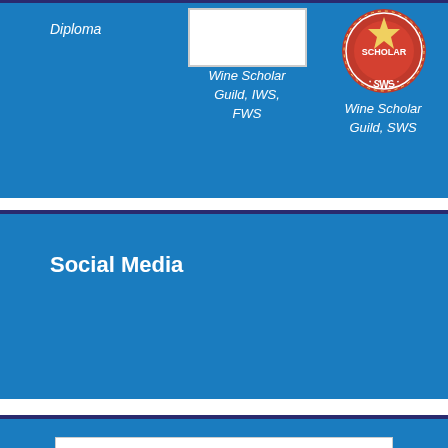Diploma
[Figure (logo): Wine Scholar Guild IWS logo - white rectangle placeholder]
Wine Scholar Guild, IWS, FWS
[Figure (logo): Wine Scholar Guild SWS circular badge logo with red and gold design]
Wine Scholar Guild, SWS
Social Media
[Figure (screenshot): Search input box at bottom of page]